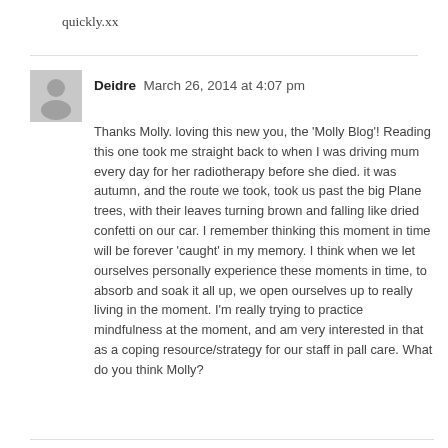quickly.xx
Deidre  March 26, 2014 at 4:07 pm

Thanks Molly. loving this new you, the 'Molly Blog'! Reading this one took me straight back to when I was driving mum every day for her radiotherapy before she died. it was autumn, and the route we took, took us past the big Plane trees, with their leaves turning brown and falling like dried confetti on our car. I remember thinking this moment in time will be forever 'caught' in my memory. I think when we let ourselves personally experience these moments in time, to absorb and soak it all up, we open ourselves up to really living in the moment. I'm really trying to practice mindfulness at the moment, and am very interested in that as a coping resource/strategy for our staff in pall care. What do you think Molly?